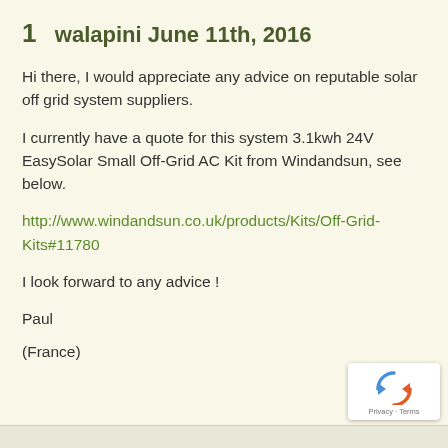1   walapini June 11th, 2016
Hi there, I would appreciate any advice on reputable solar off grid system suppliers.
I currently have a quote for this system 3.1kwh 24V EasySolar Small Off-Grid AC Kit from Windandsun, see below.
http://www.windandsun.co.uk/products/Kits/Off-Grid-Kits#11780
I look forward to any advice !
Paul
(France)
[Figure (logo): reCAPTCHA badge with recycling arrows icon and Privacy · Terms text]